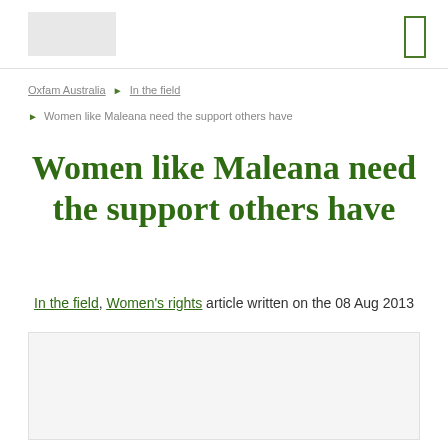Oxfam Australia header with logo
Oxfam Australia ▶ In the field
▶ Women like Maleana need the support others have
Women like Maleana need the support others have
In the field, Women's rights article written on the 08 Aug 2013